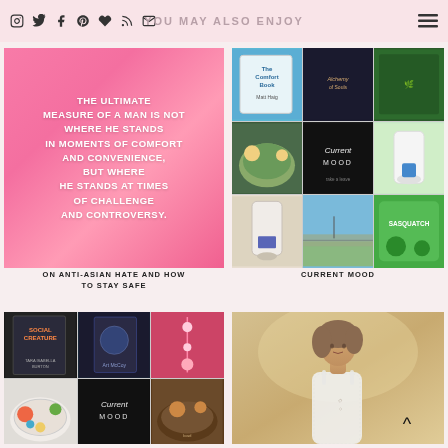YOU MAY ALSO ENJOY
[Figure (photo): Pink watercolor background with bold white quote text: THE ULTIMATE MEASURE OF A MAN IS NOT WHERE HE STANDS IN MOMENTS OF COMFORT AND CONVENIENCE, BUT WHERE HE STANDS AT TIMES OF CHALLENGE AND CONTROVERSY.]
[Figure (photo): 3x3 grid collage of photos: book covers (The Comfort Book, Alchemy of Souls), food bowls, green drink, Current Mood black tile, bottle, outdoor path, Sasquatch game]
ON ANTI-ASIAN HATE AND HOW TO STAY SAFE
CURRENT MOOD
[Figure (photo): 2x3 grid collage: Social Creature book, art gallery photo, pink flowers, plate of food, Current Mood black tile, bowl of food]
[Figure (photo): Portrait photo of woman with short hair wearing white lacy dress, warm golden-toned background]